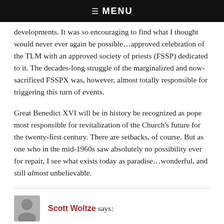☰ MENU
developments. It was so encouraging to find what I thought would never ever again be possible…approved celebration of the TLM with an approved society of priests (FSSP) dedicated to it. The decades-long struggle of the marginalized and now-sacrificed FSSPX was, however, almost totally responsible for triggering this turn of events.
Great Benedict XVI will be in history be recognized as pope most responsible for revitalization of the Church's future for the twenty-first century. There are setbacks, of course. But as one who in the mid-1960s saw absolutely no possibility ever for repair, I see what exists today as paradise…wonderful, and still almost unbelievable.
Scott Woltze says: